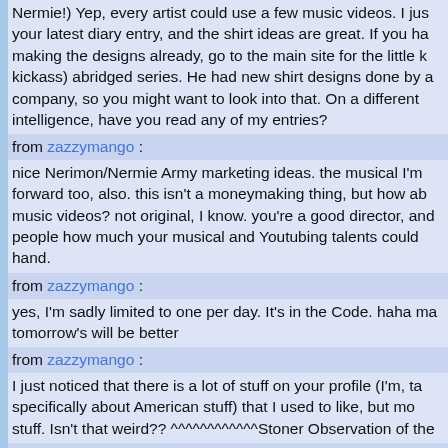Nermie!) Yep, every artist could use a few music videos. I jus your latest diary entry, and the shirt ideas are great. If you ha making the designs already, go to the main site for the little k kickass) abridged series. He had new shirt designs done by a company, so you might want to look into that. On a different intelligence, have you read any of my entries?
from zazzymango :
nice Nerimon/Nermie Army marketing ideas. the musical I'm forward too, also. this isn't a moneymaking thing, but how ab music videos? not original, I know. you're a good director, an people how much your musical and Youtubing talents could hand.
from zazzymango :
yes, I'm sadly limited to one per day. It's in the Code. haha ma tomorrow's will be better
from zazzymango :
I just noticed that there is a lot of stuff on your profile (I'm, ta specifically about American stuff) that I used to like, but mo stuff. Isn't that weird?? ^^^^^^^^^^^^Stoner Observation of the
from nationalepic :
Alex, you're a silly moo. =3 I wish you were here, you could fa to me and all would be perfect. <333
from nationalepic :
How did you write that entry at three in the morning? I thou